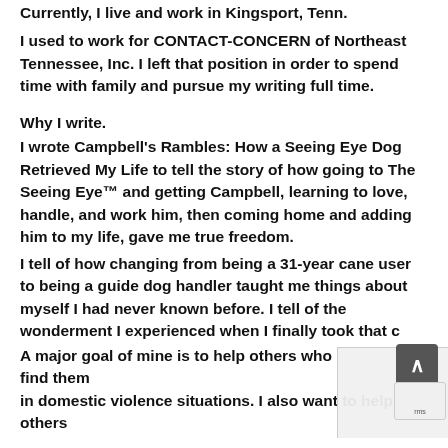Currently, I live and work in Kingsport, Tenn.
I used to work for CONTACT-CONCERN of Northeast Tennessee, Inc. I left that position in order to spend time with family and pursue my writing full time.
Why I write.
I wrote Campbell's Rambles: How a Seeing Eye Dog Retrieved My Life to tell the story of how going to The Seeing Eye™ and getting Campbell, learning to love, handle, and work him, then coming home and adding him to my life, gave me true freedom.
I tell of how changing from being a 31-year cane user to being a guide dog handler taught me things about myself I had never known before. I tell of the wonderment I experienced when I finally took that c…
A major goal of mine is to help others who find them… in domestic violence situations. I also want to help others…